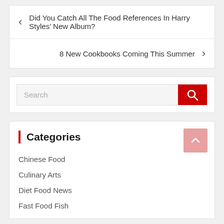< Did You Catch All The Food References In Harry Styles' New Album?
8 New Cookbooks Coming This Summer >
[Figure (screenshot): Search input field with red search button containing magnifying glass icon]
Categories
Chinese Food
Culinary Arts
Diet Food News
Fast Food Fish